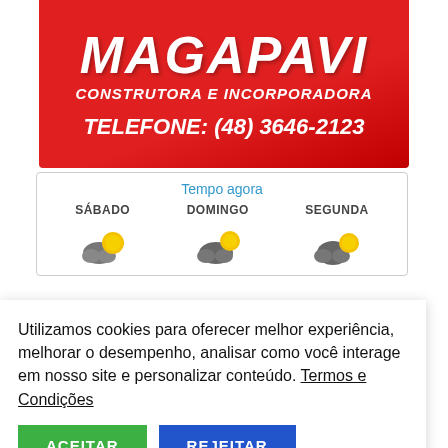[Figure (logo): Magapavi Construtora e Incorporadora advertisement banner with phone number on red gradient background. Text: MAGAPAVI / CONSTRUTORA E INCORPORADORA / TELEFONE: (48) 3646-2123]
[Figure (infographic): Weather widget showing Tempo agora (Weather now) with three days: SÁBADO, DOMINGO, SEGUNDA, each with partly cloudy/sunny icons]
Utilizamos cookies para oferecer melhor experiência, melhorar o desempenho, analisar como você interage em nosso site e personalizar conteúdo. Termos e Condições
[Figure (screenshot): Partially visible dark strip at the bottom with cursive/script text]